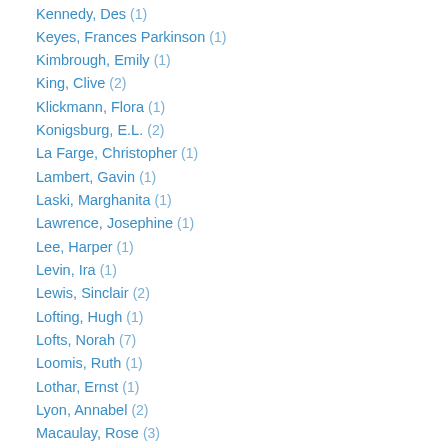Kennedy, Des (1)
Keyes, Frances Parkinson (1)
Kimbrough, Emily (1)
King, Clive (2)
Klickmann, Flora (1)
Konigsburg, E.L. (2)
La Farge, Christopher (1)
Lambert, Gavin (1)
Laski, Marghanita (1)
Lawrence, Josephine (1)
Lee, Harper (1)
Levin, Ira (1)
Lewis, Sinclair (2)
Lofting, Hugh (1)
Lofts, Norah (7)
Loomis, Ruth (1)
Lothar, Ernst (1)
Lyon, Annabel (2)
Macaulay, Rose (3)
MacAvoy, R.A. (3)